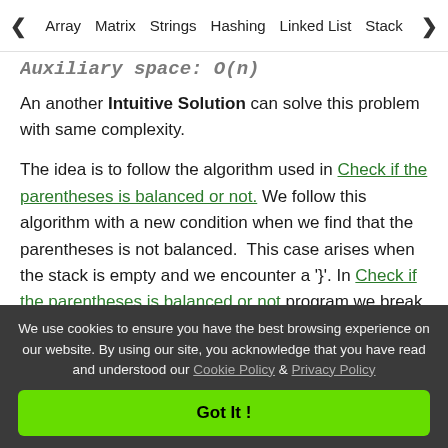< Array  Matrix  Strings  Hashing  Linked List  Stack >
Auxiliary space: O(n)
An another Intuitive Solution can solve this problem with same complexity.
The idea is to follow the algorithm used in Check if the parentheses is balanced or not. We follow this algorithm with a new condition when we find that the parentheses is not balanced.  This case arises when the stack is empty and we encounter a '}'. In Check if the parentheses is balanced or not program we break the loop when we find that
We use cookies to ensure you have the best browsing experience on our website. By using our site, you acknowledge that you have read and understood our Cookie Policy & Privacy Policy
Got It !